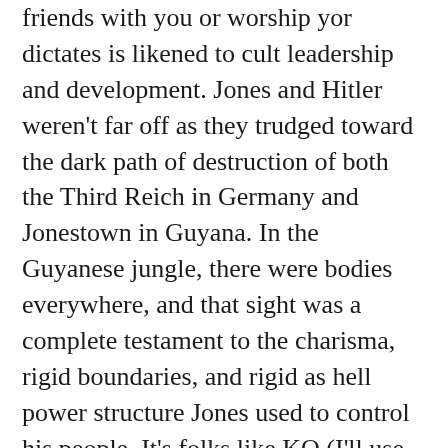friends with you or worship yor dictates is likened to cult leadership and development. Jones and Hitler weren't far off as they trudged toward the dark path of destruction of both the Third Reich in Germany and Jonestown in Guyana. In the Guyanese jungle, there were bodies everywhere, and that sight was a complete testament to the charisma, rigid boundaries, and rigid as hell power structure Jones used to control his people. It's folks like KO (I'll use this name to ID the guy but this is an ex I will never name again by his actual name.) who make me wonder if Gilead is coming for real.
LEt me make one thing clear. There are drawbacks to religious freedom. Cultis